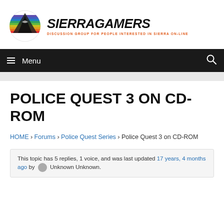[Figure (logo): SierraGamers logo with rainbow mountain circle icon and bold italic SIERRAGAMERS text with tagline DISCUSSION GROUP FOR PEOPLE INTERESTED IN SIERRA ON-LINE]
≡ Menu  [search icon]
POLICE QUEST 3 ON CD-ROM
HOME › Forums › Police Quest Series › Police Quest 3 on CD-ROM
This topic has 5 replies, 1 voice, and was last updated 17 years, 4 months ago by [avatar] Unknown Unknown.